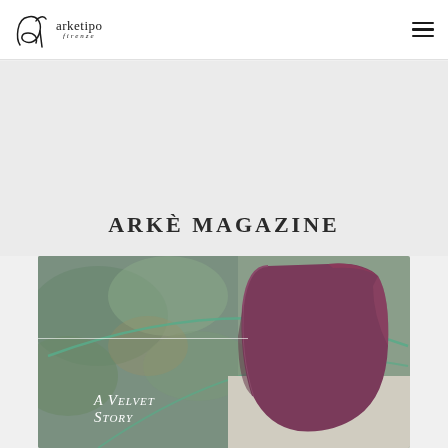arketipo firenze
ARKÈ MAGAZINE
[Figure (photo): A velvet upholstered chair in deep plum/burgundy color beside a round glass table, with greenery blurred in the background. Text overlay reads 'A Velvet Story'.]
A Velvet Story